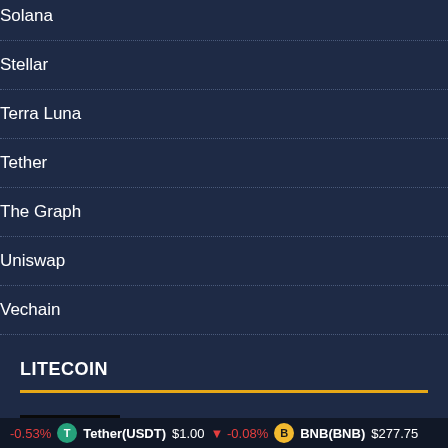Solana
Stellar
Terra Luna
Tether
The Graph
Uniswap
Vechain
LITECOIN
Litecoin Price Prediction: The beginning of the end – FXStreet
August 28, 2022  0
LTC Price Prediction: Can Litecoin Price R... $100?
-0.53%   Tether(USDT) $1.00  -0.08%   BNB(BNB) $277.75